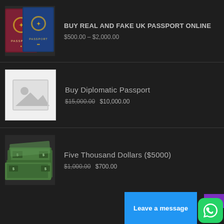[Figure (photo): Two UK passports (burgundy/red and blue) overlapping on a dark background]
BUY REAL AND FAKE UK PASSPORT ONLINE
$500.00 – $2,000.00
[Figure (photo): Placeholder image with grey mountain/image icon on white background]
Buy Diplomatic Passport
$15,000.00 $10,000.00
[Figure (photo): Pile of US dollar bills spread on a surface]
Five Thousand Dollars ($5000)
$1,000.00 $700.00
Leave a message